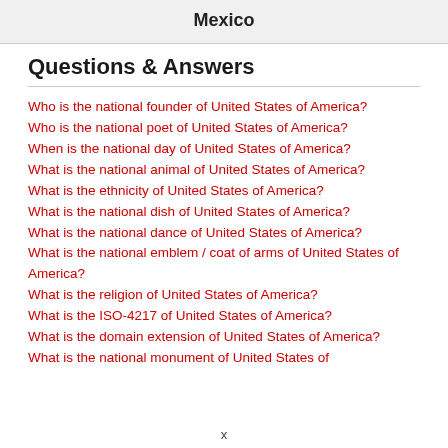Mexico
Questions & Answers
Who is the national founder of United States of America?
Who is the national poet of United States of America?
When is the national day of United States of America?
What is the national animal of United States of America?
What is the ethnicity of United States of America?
What is the national dish of United States of America?
What is the national dance of United States of America?
What is the national emblem / coat of arms of United States of America?
What is the religion of United States of America?
What is the ISO-4217 of United States of America?
What is the domain extension of United States of America?
What is the national monument of United States of